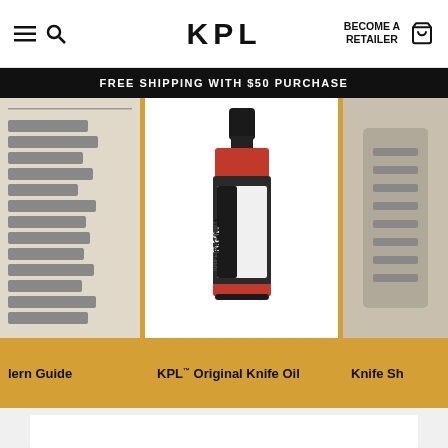KPL | BECOME A RETAILER
FREE SHIPPING WITH $50 PURCHASE
[Figure (photo): Partial view of a knife reference chart/guide product on yellow background]
lern Guide
[Figure (photo): KPL Original Knife Oil bottle - small dark bottle with red bottom and black/white label showing KPL ORIGINAL KNIFE OIL text, on white background]
KPL™ Original Knife Oil
[Figure (photo): Partial view of Knife Sh... product on yellow background]
Knife Sh...
[Figure (photo): Bottom partial white card area]